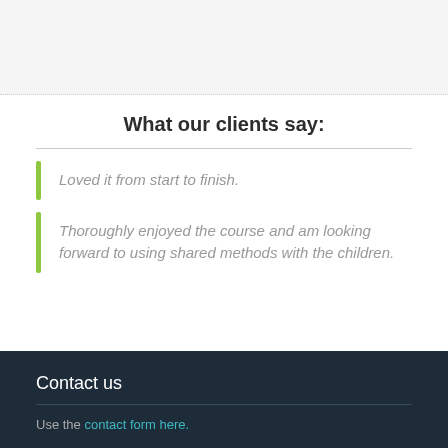Loved it from start to finish.
Thoroughly enjoyed the course and am looking forward to using shared methods with the children.
What our clients say:
Contact us
Use the contact form here.